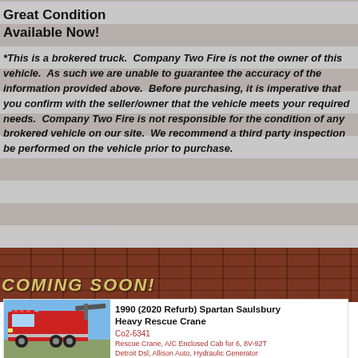Great Condition
Available Now!
*This is a brokered truck. Company Two Fire is not the owner of this vehicle. As such we are unable to guarantee the accuracy of the information provided above. Before purchasing, it is imperative that you confirm with the seller/owner that the vehicle meets your required needs. Company Two Fire is not responsible for the condition of any brokered vehicle on our site. We recommend a third party inspection be performed on the vehicle prior to purchase.
COMING SOON!
[Figure (photo): Red heavy rescue fire truck / crane vehicle parked outdoors on grass, clear blue sky background]
1990 (2020 Refurb) Spartan Saulsbury Heavy Rescue Crane
Co2-6341
Rescue Crane, A/C Enclosed Cab for 6, 8V-92T Detroit Dsl, Allison Auto, Hydraulic Generator